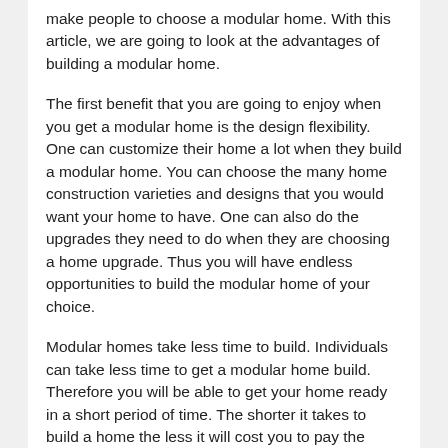make people to choose a modular home. With this article, we are going to look at the advantages of building a modular home.
The first benefit that you are going to enjoy when you get a modular home is the design flexibility. One can customize their home a lot when they build a modular home. You can choose the many home construction varieties and designs that you would want your home to have. One can also do the upgrades they need to do when they are choosing a home upgrade. Thus you will have endless opportunities to build the modular home of your choice.
Modular homes take less time to build. Individuals can take less time to get a modular home build. Therefore you will be able to get your home ready in a short period of time. The shorter it takes to build a home the less it will cost you to pay the construction company. Hence if one is looking for a home they can build in a shorter period of time they need to consider building a modular